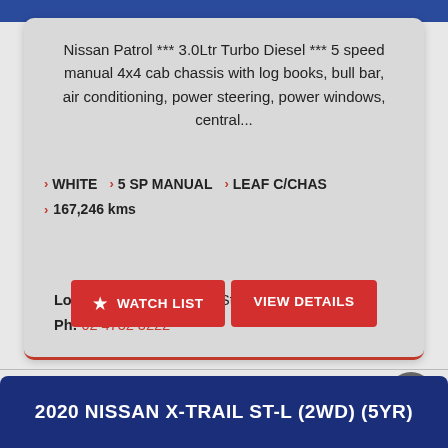Nissan Patrol *** 3.0Ltr Turbo Diesel *** 5 speed manual 4x4 cab chassis with log books, bull bar, air conditioning, power steering, power windows, central...
WHITE  ›  5 SP MANUAL  ›  LEAF C/CHAS
167,246 kms
Location: 38 & 46 Henry St Penrith NSW 2750
Ph: 02 4732 3222
2020 NISSAN X-TRAIL ST-L (2WD) (5YR)